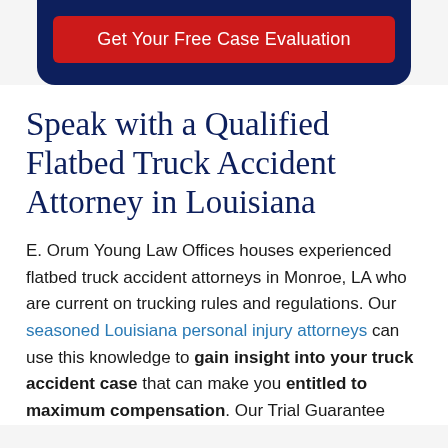[Figure (other): Dark navy blue banner with a red button labeled 'Get Your Free Case Evaluation']
Speak with a Qualified Flatbed Truck Accident Attorney in Louisiana
E. Orum Young Law Offices houses experienced flatbed truck accident attorneys in Monroe, LA who are current on trucking rules and regulations. Our seasoned Louisiana personal injury attorneys can use this knowledge to gain insight into your truck accident case that can make you entitled to maximum compensation. Our Trial Guarantee